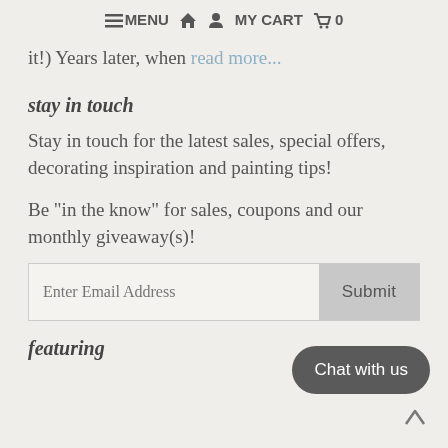≡ MENU   🏠  👤  MY CART  🛒  0
it!) Years later, when read more...
stay in touch
Stay in touch for the latest sales, special offers, decorating inspiration and painting tips!
Be "in the know" for sales, coupons and our monthly giveaway(s)!
Enter Email Address    Submit
featuring